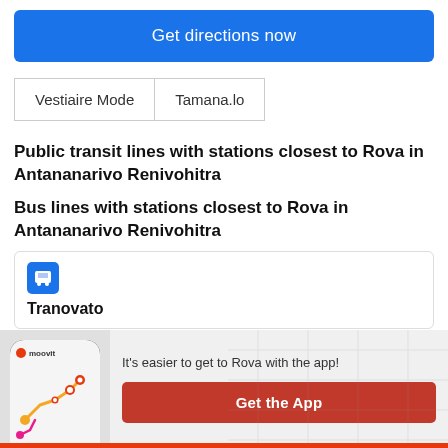Get directions now
| Vestiaire Mode | Tamana.lo |
Public transit lines with stations closest to Rova in Antananarivo Renivohitra
Bus lines with stations closest to Rova in Antananarivo Renivohitra
Tranovato
It's easier to get to Rova with the app!
Get the App